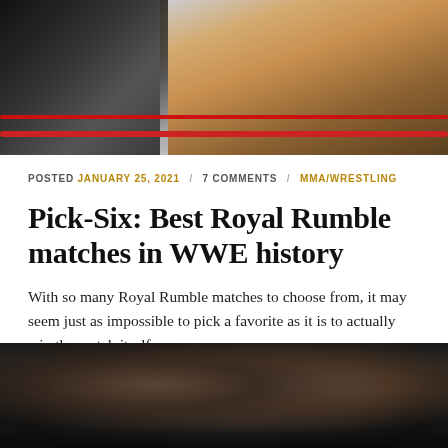[Figure (photo): Two wrestlers in a WWE ring, one with blonde hair raising arm, one in dark outfit, red ring ropes visible]
POSTED JANUARY 25, 2021 / 7 COMMENTS / MMA/WRESTLING
Pick-Six: Best Royal Rumble matches in WWE history
With so many Royal Rumble matches to choose from, it may seem just as impossible to pick a favorite as it is to actually win the match itself.
[Figure (photo): Two MMA/wrestling fighters facing each other in a dark arena, one bald with beard throwing punch, one with longer hair]